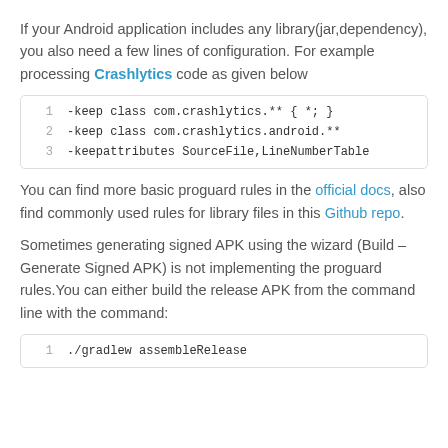If your Android application includes any library(jar,dependency), you also need a few lines of configuration. For example processing Crashlytics code as given below
1   -keep class com.crashlytics.** { *; }
2   -keep class com.crashlytics.android.**
3   -keepattributes SourceFile,LineNumberTable
You can find more basic proguard rules in the official docs, also find commonly used rules for library files in this Github repo.
Sometimes generating signed APK using the wizard (Build – Generate Signed APK) is not implementing the proguard rules.You can either build the release APK from the command line with the command:
1   ./gradlew assembleRelease